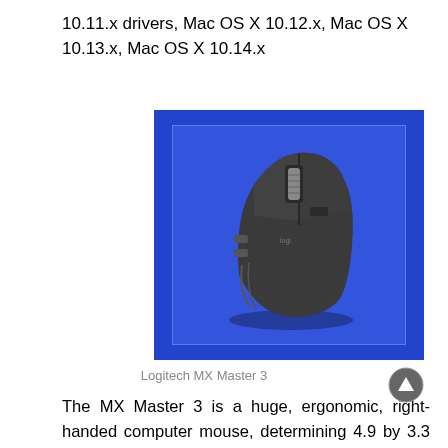10.11.x drivers, Mac OS X 10.12.x, Mac OS X 10.13.x, Mac OS X 10.14.x
[Figure (photo): Photo of the Logitech MX Master 3 wireless mouse, shown from a top-angled view against a blue background. The mouse is dark grey/graphite colored with a scroll wheel and side buttons visible.]
Logitech MX Master 3
The MX Master 3 is a huge, ergonomic, right-handed computer mouse, determining 4.9 by 3.3 by